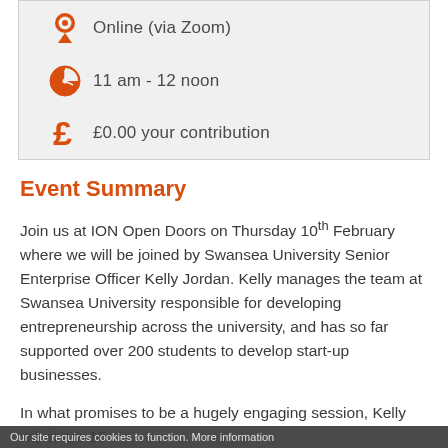Online (via Zoom)
11 am - 12 noon
£0.00 your contribution
Event Summary
Join us at ION Open Doors on Thursday 10th February where we will be joined by Swansea University Senior Enterprise Officer Kelly Jordan. Kelly manages the team at Swansea University responsible for developing entrepreneurship across the university, and has so far supported over 200 students to develop start-up businesses.
In what promises to be a hugely engaging session, Kelly will share 15
Our site requires cookies to function. More information